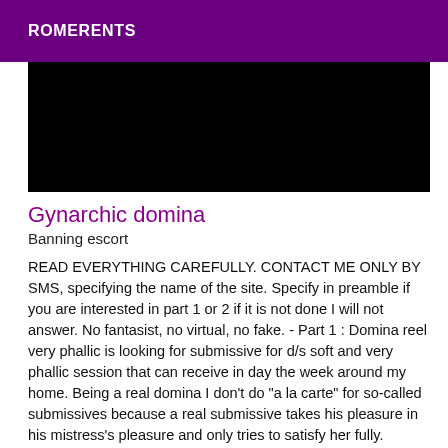ROMERENTS
[Figure (photo): Black rectangular image area]
Gynarchic domina
Banning escort
READ EVERYTHING CAREFULLY. CONTACT ME ONLY BY SMS, specifying the name of the site. Specify in preamble if you are interested in part 1 or 2 if it is not done I will not answer. No fantasist, no virtual, no fake. - Part 1 : Domina reel very phallic is looking for submissive for d/s soft and very phallic session that can receive in day the week around my home. Being a real domina I don't do "a la carte" for so-called submissives because a real submissive takes his pleasure in his mistress's pleasure and only tries to satisfy her fully. Follow-up would be preferable. - Part 2 : seeks